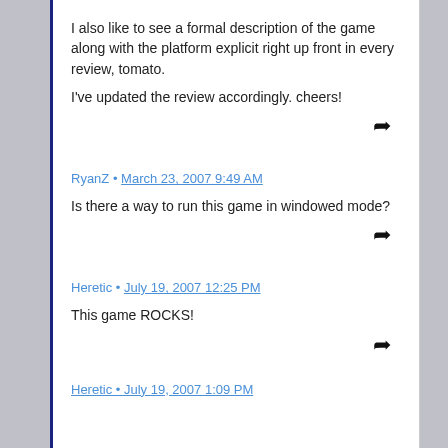I also like to see a formal description of the game along with the platform explicit right up front in every review, tomato.
I've updated the review accordingly. cheers!
↩
RyanZ • March 23, 2007 9:49 AM
Is there a way to run this game in windowed mode?
↩
Heretic • July 19, 2007 12:25 PM
This game ROCKS!
↩
Heretic • July 19, 2007 1:00 PM (partial)